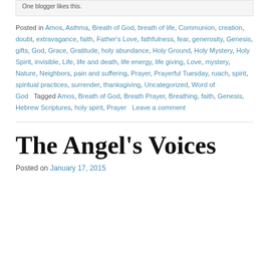One blogger likes this.
Posted in Amos, Asthma, Breath of God, breath of life, Communion, creation, doubt, extravagance, faith, Father's Love, fathfulness, fear, generosity, Genesis, gifts, God, Grace, Gratitude, holy abundance, Holy Ground, Holy Mystery, Holy Spirit, invisible, Life, life and death, life energy, life giving, Love, mystery, Nature, Neighbors, pain and suffering, Prayer, Prayerful Tuesday, ruach, spirit, spiritual practices, surrender, thanksgiving, Uncategorized, Word of God   Tagged Amos, Breath of God, Breath Prayer, Breathing, faith, Genesis, Hebrew Scriptures, holy spirit, Prayer   Leave a comment
The Angel's Voices
Posted on January 17, 2015